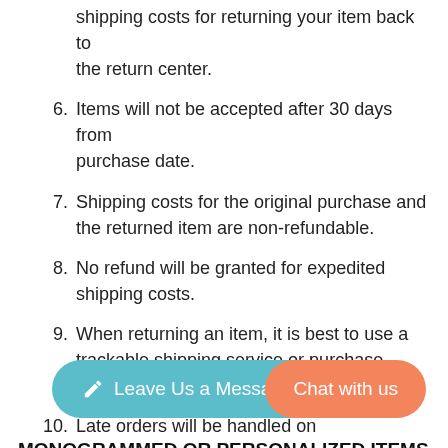shipping costs for returning your item back to the return center.
6. Items will not be accepted after 30 days from purchase date.
7. Shipping costs for the original purchase and the returned item are non-refundable.
8. No refund will be granted for expedited shipping costs.
9. When returning an item, it is best to use a trackable shipping service or purchase shipping insurance.
10. Late orders will be handled on a case
MONOGRAMMED OR PERSONALIZED ITEMS